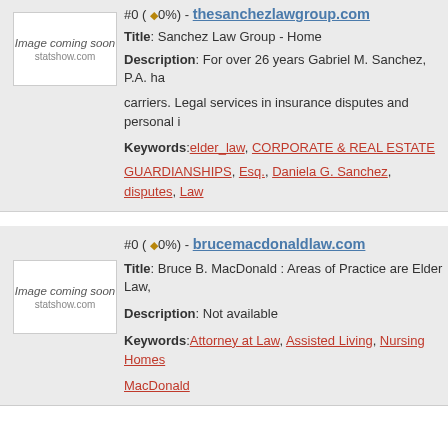#0 (◆0%) - thesanchezlawgroup.com
Title: Sanchez Law Group - Home
Description: For over 26 years Gabriel M. Sanchez, P.A. ha... carriers. Legal services in insurance disputes and personal i...
Keywords: elder_law, CORPORATE & REAL ESTATE, GUARDIANSHIPS, Esq., Daniela G. Sanchez, disputes, Law...
#0 (◆0%) - brucemacdonaldlaw.com
Title: Bruce B. MacDonald : Areas of Practice are Elder Law,...
Description: Not available
Keywords: Attorney at Law, Assisted Living, Nursing Homes... MacDonald